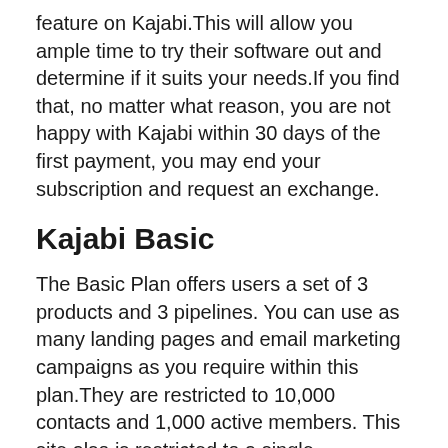feature on Kajabi.This will allow you ample time to try their software out and determine if it suits your needs.If you find that, no matter what reason, you are not happy with Kajabi within 30 days of the first payment, you may end your subscription and request an exchange.
Kajabi Basic
The Basic Plan offers users a set of 3 products and 3 pipelines. You can use as many landing pages and email marketing campaigns as you require within this plan.They are restricted to 10,000 contacts and 1,000 active members. This site also is restricted to a single administrator.